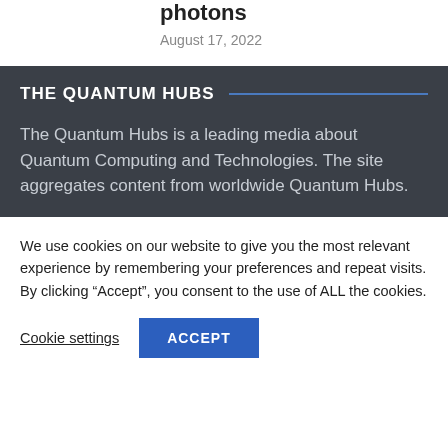photons
August 17, 2022
THE QUANTUM HUBS
The Quantum Hubs is a leading media about Quantum Computing and Technologies. The site aggregates content from worldwide Quantum Hubs.
We use cookies on our website to give you the most relevant experience by remembering your preferences and repeat visits. By clicking “Accept”, you consent to the use of ALL the cookies.
Cookie settings
ACCEPT